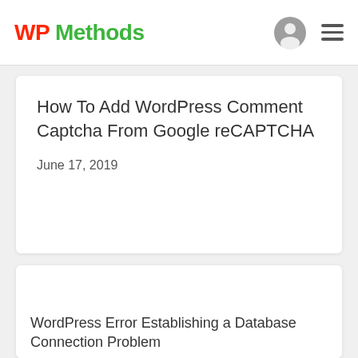WP Methods
How To Add WordPress Comment Captcha From Google reCAPTCHA
June 17, 2019
[Figure (other): Currency selector widget showing $ USD (green) and BDT (dark grey) options]
WordPress Error Establishing a Database Connection Problem